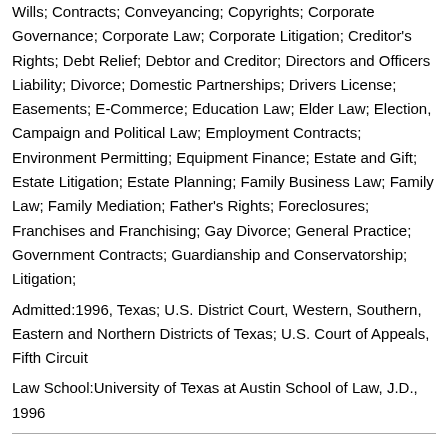Wills; Contracts; Conveyancing; Copyrights; Corporate Governance; Corporate Law; Corporate Litigation; Creditor's Rights; Debt Relief; Debtor and Creditor; Directors and Officers Liability; Divorce; Domestic Partnerships; Drivers License; Easements; E-Commerce; Education Law; Elder Law; Election, Campaign and Political Law; Employment Contracts; Environment Permitting; Equipment Finance; Estate and Gift; Estate Litigation; Estate Planning; Family Business Law; Family Law; Family Mediation; Father's Rights; Foreclosures; Franchises and Franchising; Gay Divorce; General Practice; Government Contracts; Guardianship and Conservatorship; Litigation;
Admitted:1996, Texas; U.S. District Court, Western, Southern, Eastern and Northern Districts of Texas; U.S. Court of Appeals, Fifth Circuit
Law School:University of Texas at Austin School of Law, J.D., 1996
Kassi Horner, Attorney at Peterson Law Group
Address: Executive Office Plaza 3608 East 29th Street, Suite 112, Bryan, TX 77802
Practice:Adoptions; Agents and Brokers; Alternative Disputes; Annulment;